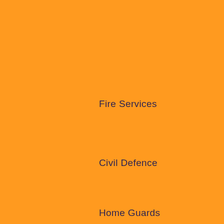Fire Services
Civil Defence
Home Guards